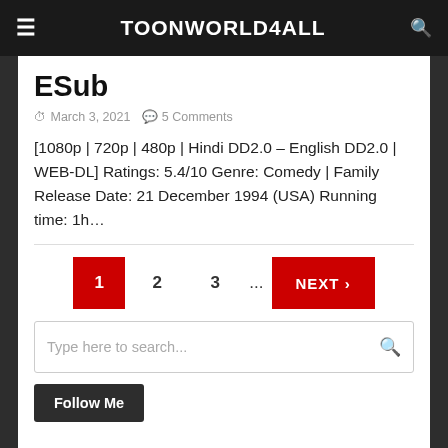Toonworld4all
ESub
March 3, 2021  5 Comments
[1080p | 720p | 480p | Hindi DD2.0 – English DD2.0 | WEB-DL] Ratings: 5.4/10 Genre: Comedy | Family Release Date: 21 December 1994 (USA) Running time: 1h…
1  2  3  ...  NEXT >
Type here to search...
Follow Me